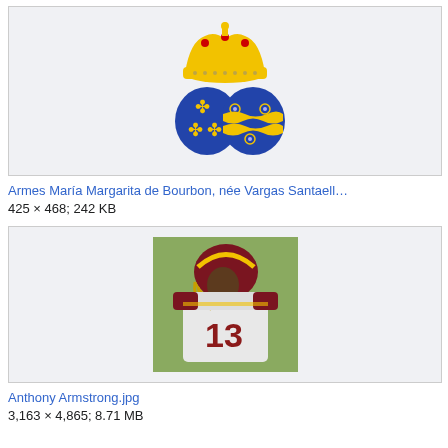[Figure (illustration): Coat of arms of María Margarita de Bourbon née Vargas Santaella, showing a royal crown above two blue oval shields — left with three gold fleur-de-lis, right with wavy yellow and blue pattern with circular motifs]
Armes María Margarita de Bourbon, née Vargas Santaell…
425 × 468; 242 KB
[Figure (photo): Photo of Anthony Armstrong, a football player wearing jersey number 13 in Washington Redskins white uniform with maroon and gold helmet, standing on a field]
Anthony Armstrong.jpg
3,163 × 4,865; 8.71 MB